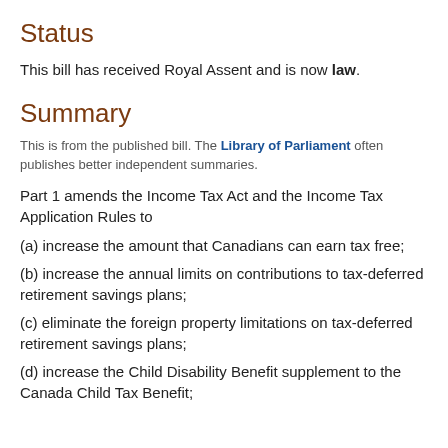Status
This bill has received Royal Assent and is now law.
Summary
This is from the published bill. The Library of Parliament often publishes better independent summaries.
Part 1 amends the Income Tax Act and the Income Tax Application Rules to
(a) increase the amount that Canadians can earn tax free;
(b) increase the annual limits on contributions to tax-deferred retirement savings plans;
(c) eliminate the foreign property limitations on tax-deferred retirement savings plans;
(d) increase the Child Disability Benefit supplement to the Canada Child Tax Benefit;